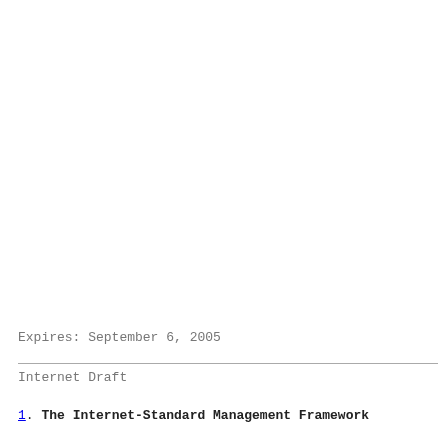Expires: September 6, 2005
Internet Draft
1. The Internet-Standard Management Framework